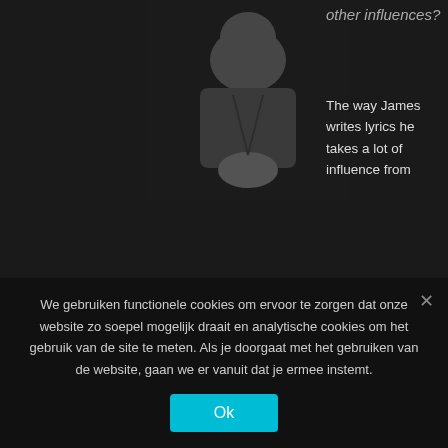[Figure (photo): Black and white photo of a person sitting with hands clasped, wearing dark clothing]
other influences?
The way James writes lyrics he takes a lot of influence from the author Charles Bukowski who is very literal and he doesn't mess around. He is very honest. James takes a lot of that into his lyrics. We have a variety of influences. I can hear Kings Of Leons influences on our latest album and Bruce Springsteen on other albums.
We gebruiken functionele cookies om ervoor te zorgen dat onze website zo soepel mogelijk draait en analytische cookies om het gebruik van de site te meten. Als je doorgaat met het gebruiken van de website, gaan we er vanuit dat je ermee instemt.